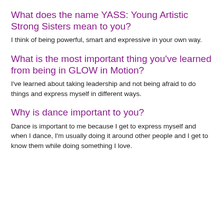What does the name YASS: Young Artistic Strong Sisters mean to you?
I think of being powerful, smart and expressive in your own way.
What is the most important thing you've learned from being in GLOW in Motion?
I've learned about taking leadership and not being afraid to do things and express myself in different ways.
Why is dance important to you?
Dance is important to me because I get to express myself and when I dance, I'm usually doing it around other people and I get to know them while doing something I love.